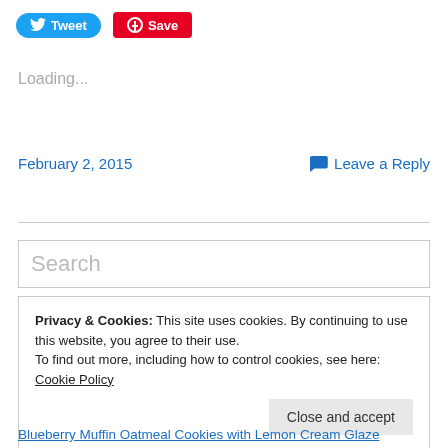[Figure (screenshot): Twitter Tweet button (blue rounded) and Pinterest Save button (red)]
Loading...
February 2, 2015
Leave a Reply
Search
Privacy & Cookies: This site uses cookies. By continuing to use this website, you agree to their use.
To find out more, including how to control cookies, see here: Cookie Policy
Close and accept
Blueberry Muffin Oatmeal Cookies with Lemon Cream Glaze